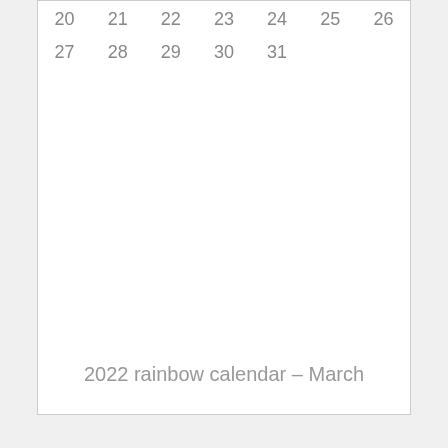| 20 | 21 | 22 | 23 | 24 | 25 | 26 |
| 27 | 28 | 29 | 30 | 31 |  |  |
2022 rainbow calendar – March